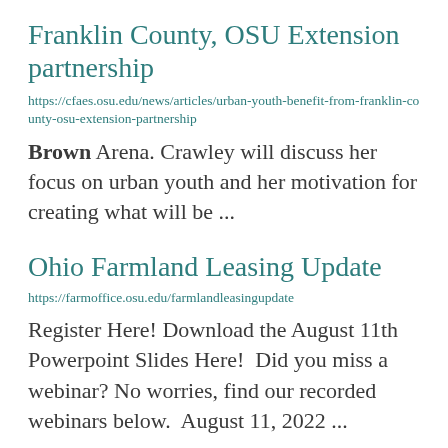Franklin County, OSU Extension partnership
https://cfaes.osu.edu/news/articles/urban-youth-benefit-from-franklin-county-osu-extension-partnership
Brown Arena. Crawley will discuss her focus on urban youth and her motivation for creating what will be ...
Ohio Farmland Leasing Update
https://farmoffice.osu.edu/farmlandleasingupdate
Register Here! Download the August 11th Powerpoint Slides Here!  Did you miss a webinar? No worries, find our recorded webinars below.  August 11, 2022 ...